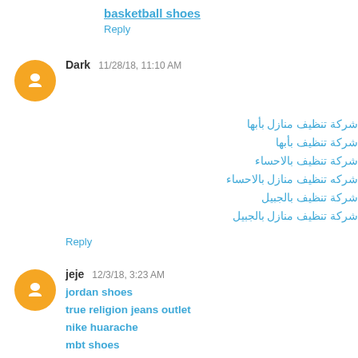basketball shoes
Reply
Dark  11/28/18, 11:10 AM
شركة تنظيف منازل بأبها
شركة تنظيف بأبها
شركة تنظيف بالاحساء
شركه تنظيف منازل بالاحساء
شركة تنظيف بالجبيل
شركة تنظيف منازل بالجبيل
Reply
jeje  12/3/18, 3:23 AM
jordan shoes
true religion jeans outlet
nike huarache
mbt shoes